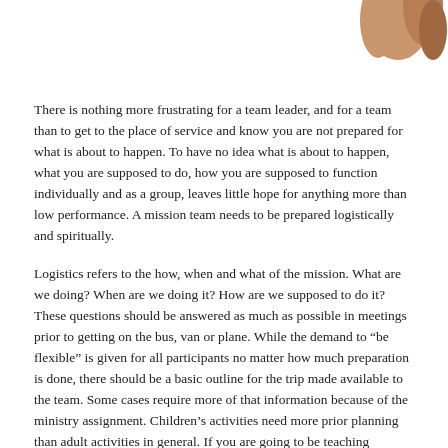[Figure (photo): Partial photo of a person's hand or arm visible in the upper right corner of the page]
There is nothing more frustrating for a team leader, and for a team than to get to the place of service and know you are not prepared for what is about to happen. To have no idea what is about to happen, what you are supposed to do, how you are supposed to function individually and as a group, leaves little hope for anything more than low performance. A mission team needs to be prepared logistically and spiritually.
Logistics refers to the how, when and what of the mission. What are we doing? When are we doing it? How are we supposed to do it? These questions should be answered as much as possible in meetings prior to getting on the bus, van or plane. While the demand to “be flexible” is given for all participants no matter how much preparation is done, there should be a basic outline for the trip made available to the team. Some cases require more of that information because of the ministry assignment. Children’s activities need more prior planning than adult activities in general. If you are going to be teaching specific material the preparation phase is vital